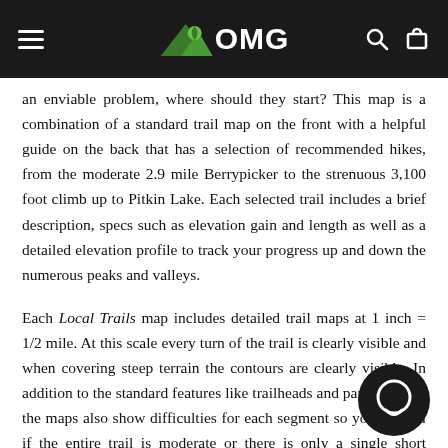OMG (outdoor map and guide logo with menu, search, and cart icons)
an enviable problem, where should they start? This map is a combination of a standard trail map on the front with a helpful guide on the back that has a selection of recommended hikes, from the moderate 2.9 mile Berrypicker to the strenuous 3,100 foot climb up to Pitkin Lake. Each selected trail includes a brief description, specs such as elevation gain and length as well as a detailed elevation profile to track your progress up and down the numerous peaks and valleys.
Each Local Trails map includes detailed trail maps at 1 inch = 1/2 mile. At this scale every turn of the trail is clearly visible and when covering steep terrain the contours are clearly visible. In addition to the standard features like trailheads and parking areas the maps also show difficulties for each segment so you can tell if the entire trail is moderate or there is only a single short section of difficult on an otherwise easy trail.